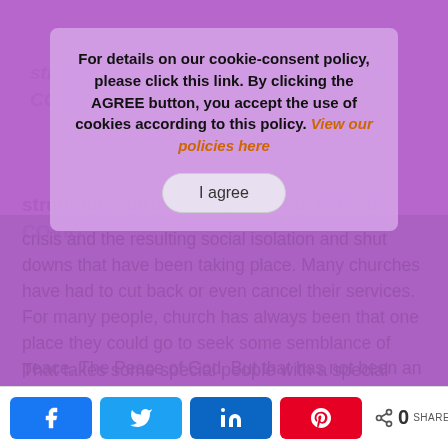[Figure (screenshot): Cookie consent overlay dialog on a purple-tinted webpage. The dialog box shows text about cookie-consent policy with an orange link 'View our policies here' and an 'I agree' button. Below the overlay, article text is visible about COVID crisis and social isolation affecting church attendance.]
For details on our cookie-consent policy, please click this link. By clicking the AGREE button, you accept the use of cookies according to this policy. View our policies here
struggling during this past year, with the COVID crisis and the resulting social isolation and shut downs that have been taking place. Many churches have had to cut back or even cancel their services. For many people, church has always been that one place they could go to seek some semblance of peace. The Peace of God. But that has not been an option for many people during this past year.
That takes some special people with a special